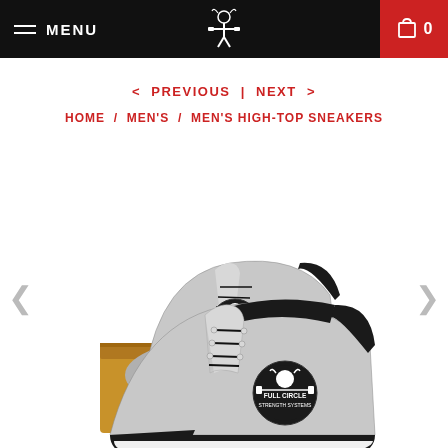MENU | [logo] | cart 0
< PREVIOUS | NEXT >
HOME / MEN'S / MEN'S HIGH-TOP SNEAKERS
[Figure (photo): Two gray and black high-top sneakers with a Full Circle Strength Systems logo (Viking warrior with barbell), displayed on a tan cardboard shoe box. The shoes feature black toe caps, black soles, black laces, and black collar. The logo shows a viking head with horned helmet above a circular badge reading 'Full Circle Strength Systems' with a barbell graphic.]